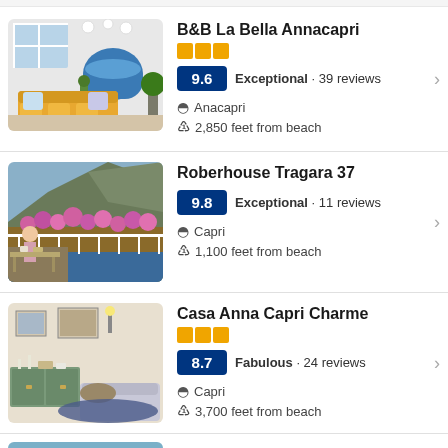B&B La Bella Annacapri · 9.6 Exceptional · 39 reviews · Anacapri · 2,850 feet from beach
Roberhouse Tragara 37 · 9.8 Exceptional · 11 reviews · Capri · 1,100 feet from beach
Casa Anna Capri Charme · 8.7 Fabulous · 24 reviews · Capri · 3,700 feet from beach
Casa Giovanna (partially visible)